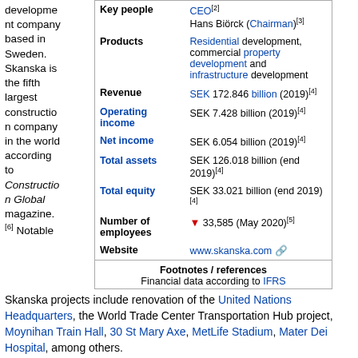development company based in Sweden. Skanska is the fifth largest construction company in the world according to Construction Global magazine. [6]
| Field | Value |
| --- | --- |
| Key people | CEO[2]
Hans Biörck (Chairman)[3] |
| Products | Residential development, commercial property development and infrastructure development |
| Revenue | SEK 172.846 billion (2019)[4] |
| Operating income | SEK 7.428 billion (2019)[4] |
| Net income | SEK 6.054 billion (2019)[4] |
| Total assets | SEK 126.018 billion (end 2019)[4] |
| Total equity | SEK 33.021 billion (end 2019)[4] |
| Number of employees | ▼ 33,585 (May 2020)[5] |
| Website | www.skanska.com |
| Footnotes / references | Financial data according to IFRS |
Notable Skanska projects include renovation of the United Nations Headquarters, the World Trade Center Transportation Hub project, Moynihan Train Hall, 30 St Mary Axe, MetLife Stadium, Mater Dei Hospital, among others.